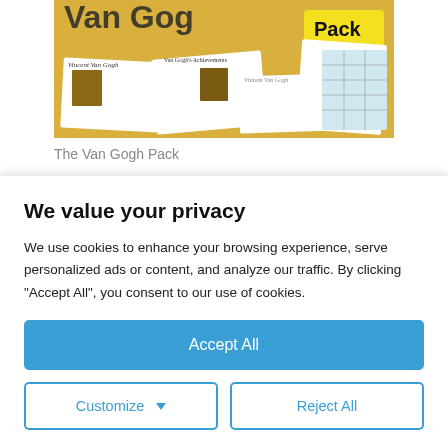[Figure (illustration): Van Gogh Pack educational product image with sunflowers, worksheets, and Van Gogh portrait thumbnails]
The Van Gogh Pack
[Figure (illustration): Partially visible second educational pack with light blue background and 'The' text visible]
We value your privacy
We use cookies to enhance your browsing experience, serve personalized ads or content, and analyze our traffic. By clicking "Accept All", you consent to our use of cookies.
Accept All
Customize
Reject All